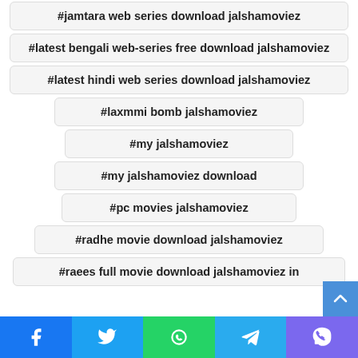#jamtara web series download jalshamoviez
#latest bengali web-series free download jalshamoviez
#latest hindi web series download jalshamoviez
#laxmmi bomb jalshamoviez
#my jalshamoviez
#my jalshamoviez download
#pc movies jalshamoviez
#radhe movie download jalshamoviez
#raees full movie download jalshamoviez in
Facebook Twitter WhatsApp Telegram Viber